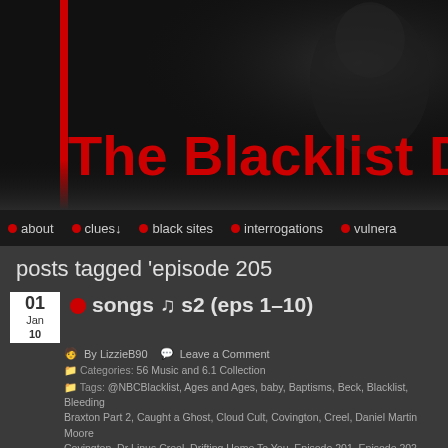[Figure (screenshot): Dark website header with red vertical bar on left, ghostly figure in background, and large red bold title text 'The Blacklist Dec' (partially cropped)]
about · clues↓ · black sites · interrogations · vulnera...
posts tagged 'episode 205
songs ♫ s2 (eps 1–10)
01 Jan 10
By LizzieB90  Leave a Comment
Categories: 56 Music and 6.1 Collection
Tags: @NBCBlacklist, Ages and Ages, baby, Baptisms, Beck, Blacklist, Bleeding... Braxton Part 2, Caught a Ghost, Cloud Cult, Covington, Creel, Daniel Martin Moore Covington, Dr Linus Creel, Drifting Home To You, Episode 201, Episode 202, Episode 209, Episode 277, Episode 2.10, Fink, Front, Go It Alone, Great Sky, Heal, Jody Brian Q... Braxton, Luther Braxton Conclusion, Luther Braxton Part 2, lyrics, Mark Lanegan, D... Moore, Muddy Water, music, Music S2 Eps 1-10, Music S2A, music videos, No Suga... Radical Face ›, Run from me, S2 Eps 1-10, S2A, Scimitar, Season 1, Season 2, songs, So... The Front, The Jody Brian Quartet, The Mombasa Cartel, The Scimitar, The Wright...